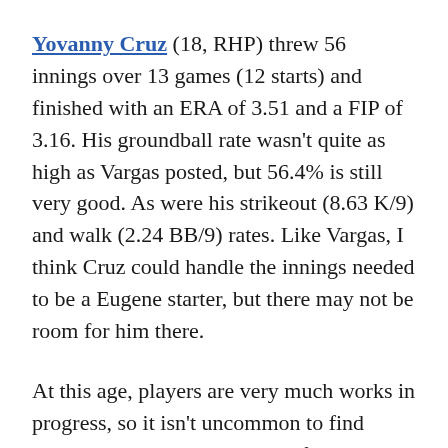Yovanny Cruz (18, RHP) threw 56 innings over 13 games (12 starts) and finished with an ERA of 3.51 and a FIP of 3.16. His groundball rate wasn't quite as high as Vargas posted, but 56.4% is still very good. As were his strikeout (8.63 K/9) and walk (2.24 BB/9) rates. Like Vargas, I think Cruz could handle the innings needed to be a Eugene starter, but there may not be room for him there.
At this age, players are very much works in progress, so it isn't uncommon to find players who do well in some of our three